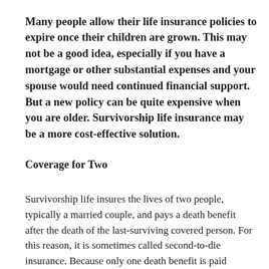Many people allow their life insurance policies to expire once their children are grown. This may not be a good idea, especially if you have a mortgage or other substantial expenses and your spouse would need continued financial support. But a new policy can be quite expensive when you are older. Survivorship life insurance may be a more cost-effective solution.
Coverage for Two
Survivorship life insures the lives of two people, typically a married couple, and pays a death benefit after the death of the last-surviving covered person. For this reason, it is sometimes called second-to-die insurance. Because only one death benefit is paid